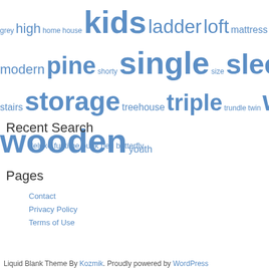[Figure (other): Tag cloud with words of varying sizes in blue: grey, high, home, house, kids, ladder, loft, mattress, mattresses, modern, pine, shorty, single, size, sleeper, slide, small, solid, stairs, storage, treehouse, triple, trundle, twin, white, wood, wooden, youth]
Recent Search
deluxe funtime bunk bed butterfly
Pages
Contact
Privacy Policy
Terms of Use
Liquid Blank Theme By Kozmik. Proudly powered by WordPress